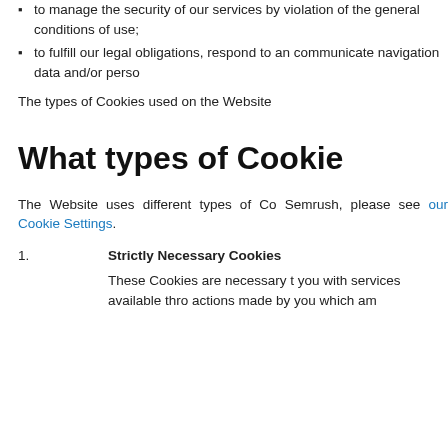to manage the security of our services by violation of the general conditions of use;
to fulfill our legal obligations, respond to an communicate navigation data and/or perso
The types of Cookies used on the Website
What types of Cookie
The Website uses different types of Co Semrush, please see our Cookie Settings.
1. Strictly Necessary Cookies
These Cookies are necessary t you with services available thro actions made by you which am